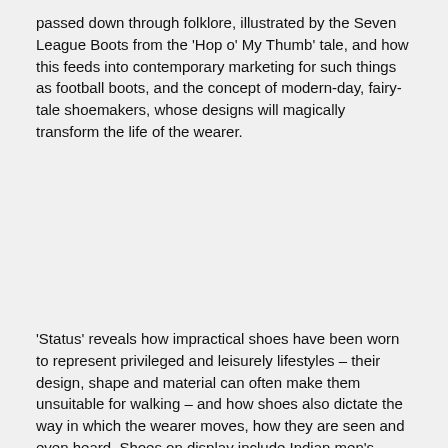passed down through folklore, illustrated by the Seven League Boots from the 'Hop o' My Thumb' tale, and how this feeds into contemporary marketing for such things as football boots, and the concept of modern-day, fairy-tale shoemakers, whose designs will magically transform the life of the wearer.
'Status' reveals how impractical shoes have been worn to represent privileged and leisurely lifestyles – their design, shape and material can often make them unsuitable for walking – and how shoes also dictate the way in which the wearer moves, how they are seen and even heard. Shoes on display include Indian men's shoes with extremely long toes, noisy